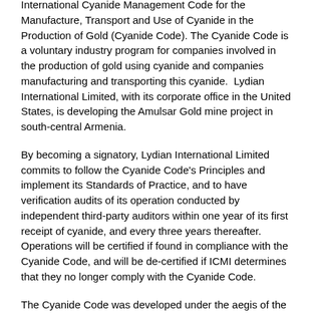International Cyanide Management Code for the Manufacture, Transport and Use of Cyanide in the Production of Gold (Cyanide Code). The Cyanide Code is a voluntary industry program for companies involved in the production of gold using cyanide and companies manufacturing and transporting this cyanide.  Lydian International Limited, with its corporate office in the United States, is developing the Amulsar Gold mine project in south-central Armenia.
By becoming a signatory, Lydian International Limited commits to follow the Cyanide Code's Principles and implement its Standards of Practice, and to have verification audits of its operation conducted by independent third-party auditors within one year of its first receipt of cyanide, and every three years thereafter. Operations will be certified if found in compliance with the Cyanide Code, and will be de-certified if ICMI determines that they no longer comply with the Cyanide Code.
The Cyanide Code was developed under the aegis of the Nations Environment Programme by a multi-holder Steering Committee. The Cyanide Code is ed to complement an operation's existing obligation to comply with the applicable laws and regulations of the